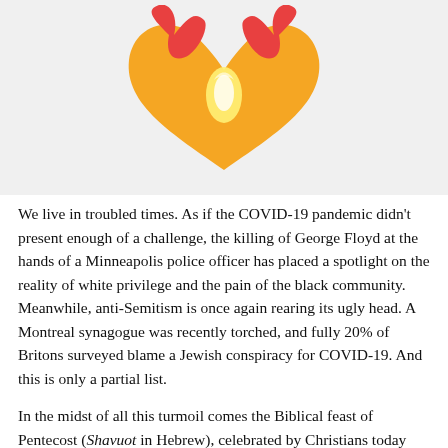[Figure (illustration): A heart-shaped illustration made of flame-like orange and red shapes with a yellow center, on a light gray background. Appears to be a dove or spirit symbol within a heart of fire.]
We live in troubled times. As if the COVID-19 pandemic didn't present enough of a challenge, the killing of George Floyd at the hands of a Minneapolis police officer has placed a spotlight on the reality of white privilege and the pain of the black community. Meanwhile, anti-Semitism is once again rearing its ugly head. A Montreal synagogue was recently torched, and fully 20% of Britons surveyed blame a Jewish conspiracy for COVID-19. And this is only a partial list.
In the midst of all this turmoil comes the Biblical feast of Pentecost (Shavuot in Hebrew), celebrated by Christians today and by Jews three days earlier. Originally a harvest festival,